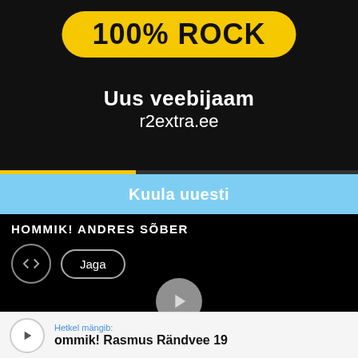[Figure (screenshot): Black video player background with yellow '100% ROCK' badge at top, white text 'Uus veebijaam r2extra.ee', and yellow progress bar at bottom]
Kuula uuesti
HOMMIK! ANDRES SÕBER
Jaga
Hetkel mängib:
ommik! Rasmus Rändvee 19